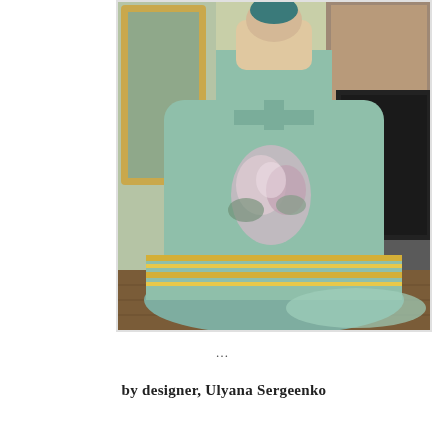[Figure (photo): A model wearing an elegant mint green ball gown with floral print and gold stripe trim at the hem, posed in a ornate French interior room with gilded mirror and fireplace. The dress has a voluminous skirt and the model has one hand on hip.]
...
by designer, Ulyana Sergeenko